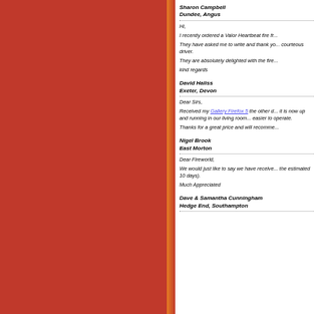Sharon Campbell
Dundee, Angus
Hi,

I recently ordered a Valor Heartbeat fire fr...

They have asked me to write and thank yo... courteous driver.

They are absolutely delighted with the fire...

kind regards
David Haliss
Exeter, Devon
Dear Sirs,

Received my Gallery Firefox 5 the other d... it is now up and running in our living room... easier to operate.

Thanks for a great price and will recomme...
Nigel Brook
East Morton
Dear Fireworld,

We would just like to say we have receive... the estimated 10 days).

Much Appreciated
Dave & Samantha Cunningham
Hedge End, Southampton